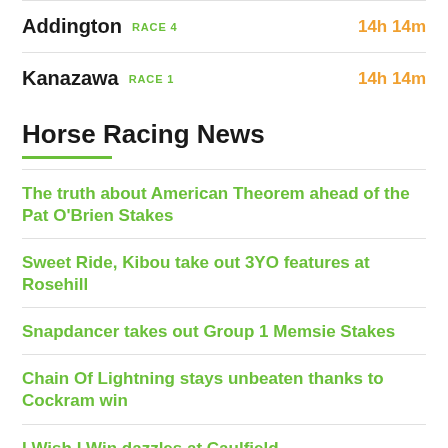Addington RACE 4 14h 14m
Kanazawa RACE 1 14h 14m
Horse Racing News
The truth about American Theorem ahead of the Pat O'Brien Stakes
Sweet Ride, Kibou take out 3YO features at Rosehill
Snapdancer takes out Group 1 Memsie Stakes
Chain Of Lightning stays unbeaten thanks to Cockram win
I Wish I Win dazzles at Caulfield